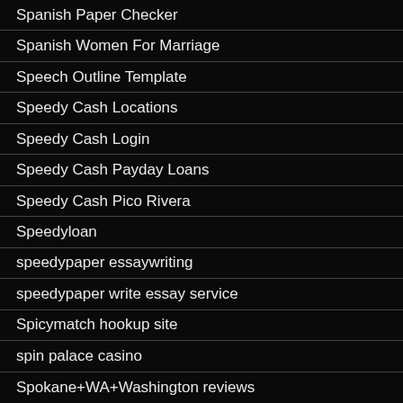Spanish Paper Checker
Spanish Women For Marriage
Speech Outline Template
Speedy Cash Locations
Speedy Cash Login
Speedy Cash Payday Loans
Speedy Cash Pico Rivera
Speedyloan
speedypaper essaywriting
speedypaper write essay service
Spicymatch hookup site
spin palace casino
Spokane+WA+Washington reviews